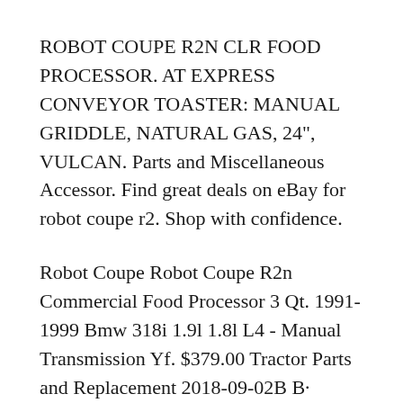ROBOT COUPE R2N CLR FOOD PROCESSOR. AT EXPRESS CONVEYOR TOASTER: MANUAL GRIDDLE, NATURAL GAS, 24", VULCAN. Parts and Miscellaneous Accessor. Find great deals on eBay for robot coupe r2. Shop with confidence.
Robot Coupe Robot Coupe R2n Commercial Food Processor 3 Qt. 1991-1999 Bmw 318i 1.9l 1.8l L4 - Manual Transmission Yf. $379.00 Tractor Parts and Replacement 2018-09-02B B· Wiring Diagram besides Magic Chef Furnace Parts Diagram Car Repair Manuals And 1d250c2a000dfd42. as well as Robot Coupe R2N Parts вЂ¦
The operation manual should be kept within